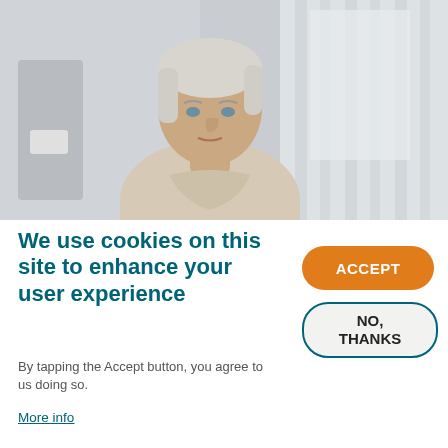[Figure (photo): Elderly woman with short white/blonde hair wearing a light cream top, sitting or standing near a window with sheer curtains and a beige wall/headboard visible, looking slightly to the side with a neutral expression. Medical or care facility setting.]
We use cookies on this site to enhance your user experience
By tapping the Accept button, you agree to us doing so.
More info